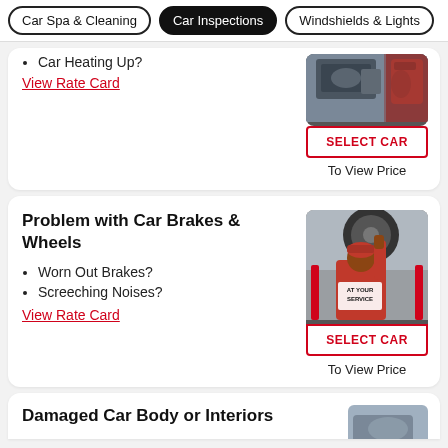Car Spa & Cleaning | Car Inspections | Windshields & Lights
Car Heating Up?
View Rate Card
[Figure (photo): Mechanic working on car engine, with SELECT CAR button and To View Price text]
Problem with Car Brakes & Wheels
Worn Out Brakes?
Screeching Noises?
View Rate Card
[Figure (photo): Mechanic in red uniform working on car wheel/brake, with AT YOUR SERVICE text, SELECT CAR button and To View Price text]
Damaged Car Body or Interiors